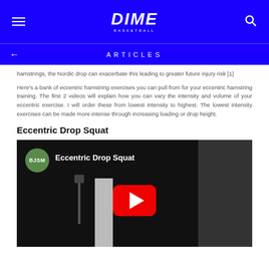DIME - ARTICLES
hamstrings, the Nordic drop can exacerbate this leading to greater future injury risk [1]
Here's a bank of eccentric hamstring exercises you can pull from for your eccentric hamstring training. The first 2 videos will explain how you can vary the intensity and volume of your eccentric exercise. I will order these from lowest intensity to highest. The lowest intensity exercises can be made more intense through increasing loading or drop height.
Eccentric Drop Squat
[Figure (screenshot): YouTube video thumbnail showing a BJSM channel video titled 'Eccentric Drop Squat'. Background shows a man in a plaid shirt standing next to a camera on a tripod in a room. A large red YouTube play button is centered on the video.]